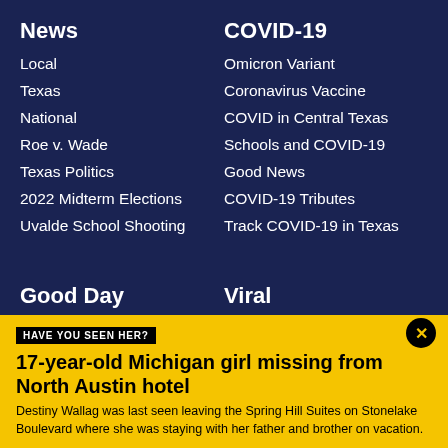News
Local
Texas
National
Roe v. Wade
Texas Politics
2022 Midterm Elections
Uvalde School Shooting
COVID-19
Omicron Variant
Coronavirus Vaccine
COVID in Central Texas
Schools and COVID-19
Good News
COVID-19 Tributes
Track COVID-19 in Texas
Good Day
Viral
HAVE YOU SEEN HER?
17-year-old Michigan girl missing from North Austin hotel
Destiny Wallag was last seen leaving the Spring Hill Suites on Stonelake Boulevard where she was staying with her father and brother on vacation.